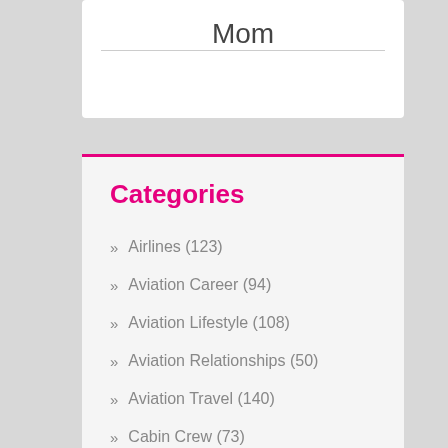Mom
Categories
Airlines (123)
Aviation Career (94)
Aviation Lifestyle (108)
Aviation Relationships (50)
Aviation Travel (140)
Cabin Crew (73)